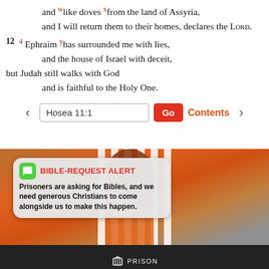and like doves from the land of Assyria,
and I will return them to their homes, declares the LORD.
12 4 Ephraim has surrounded me with lies,
and the house of Israel with deceit,
but Judah still walks with God
and is faithful to the Holy One.
Hosea 11:1  Go  Contents
[Figure (photo): Photo of a person in an orange prison jumpsuit behind white bars, with an overlay alert box reading BIBLE-REQUEST ALERT: Prisoners are asking for Bibles, and we need generous Christians to come alongside us to make this happen. Prison logo at bottom.]